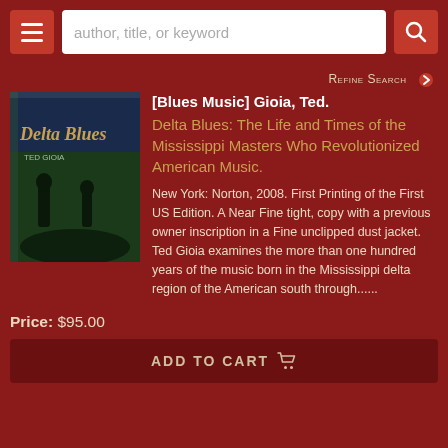[Figure (screenshot): Bookseller website screenshot showing a book listing for Delta Blues by Ted Gioia]
author, title, or keyword
Refine Search
[Figure (photo): Book cover of Delta Blues by Ted Gioia, hardcover with dust jacket, green and dark blue tones with illustrated figures]
[Blues Music] Gioia, Ted.
Delta Blues: The Life and Times of the Mississippi Masters Who Revolutionized American Music.
New York: Norton, 2008. First Printing of the First US Edition. A Near Fine tight, copy with a previous owner inscription in a Fine unclipped dust jacket. Ted Gioia examines the more than one hundred years of the music born in the Mississippi delta region of the American south through......
Price: $95.00
ADD TO CART